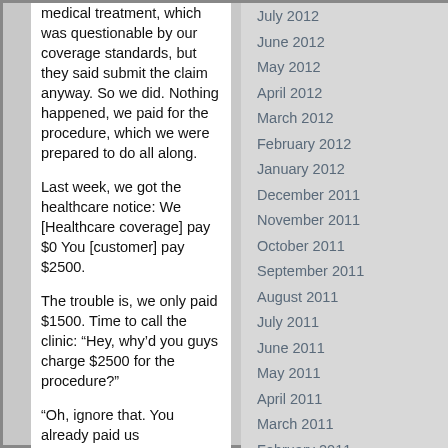medical treatment, which was questionable by our coverage standards, but they said submit the claim anyway. So we did. Nothing happened, we paid for the procedure, which we were prepared to do all along.
Last week, we got the healthcare notice: We [Healthcare coverage] pay $0 You [customer] pay $2500.
The trouble is, we only paid $1500. Time to call the clinic: “Hey, why’d you guys charge $2500 for the procedure?”
“Oh, ignore that. You already paid us
July 2012
June 2012
May 2012
April 2012
March 2012
February 2012
January 2012
December 2011
November 2011
October 2011
September 2011
August 2011
July 2011
June 2011
May 2011
April 2011
March 2011
February 2011
January 2011
December 2010
November 2010